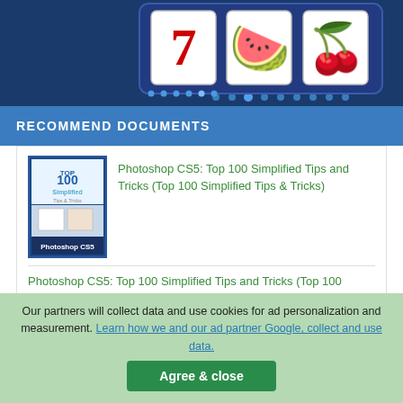[Figure (illustration): Slot machine banner showing reels with 7, watermelon, and cherry symbols on a dark blue background]
RECOMMEND DOCUMENTS
[Figure (photo): Book cover: Photoshop CS5 Top 100 Simplified Tips and Tricks]
Photoshop CS5: Top 100 Simplified Tips and Tricks (Top 100 Simplified Tips & Tricks)
Photoshop CS5: Top 100 Simplified Tips and Tricks (Top 100 Simplified Tips & Tricks)
Includes 16 bonus tips & tricks! by Lynette Kent Photoshop® CS5: Top 100 Simplified® Tips & Tricks Published by Wile...
Our partners will collect data and use cookies for ad personalization and measurement. Learn how we and our ad partner Google, collect and use data.
Agree & close